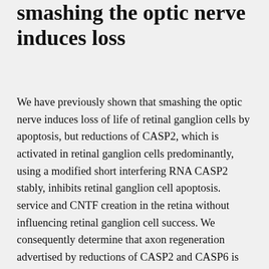smashing the optic nerve induces loss
We have previously shown that smashing the optic nerve induces loss of life of retinal ganglion cells by apoptosis, but reductions of CASP2, which is activated in retinal ganglion cells predominantly, using a modified short interfering RNA CASP2 stably, inhibits retinal ganglion cell apoptosis. service and CNTF creation in the retina without influencing retinal ganglion cell success. We consequently determine that axon regeneration advertised by reductions of CASP2 and CASP6 is usually CNTF-dependent and mediated through the JAK/STAT signalling path. This research also information for the advancement of